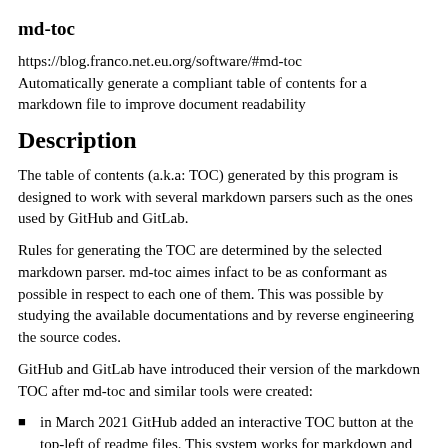md-toc
https://blog.franco.net.eu.org/software/#md-toc
Automatically generate a compliant table of contents for a markdown file to improve document readability
Description
The table of contents (a.k.a: TOC) generated by this program is designed to work with several markdown parsers such as the ones used by GitHub and GitLab.
Rules for generating the TOC are determined by the selected markdown parser. md-toc aimes infact to be as conformant as possible in respect to each one of them. This was possible by studying the available documentations and by reverse engineering the source codes.
GitHub and GitLab have introduced their version of the markdown TOC after md-toc and similar tools were created:
in March 2021 GitHub added an interactive TOC button at the top-left of readme files. This system works for markdown and